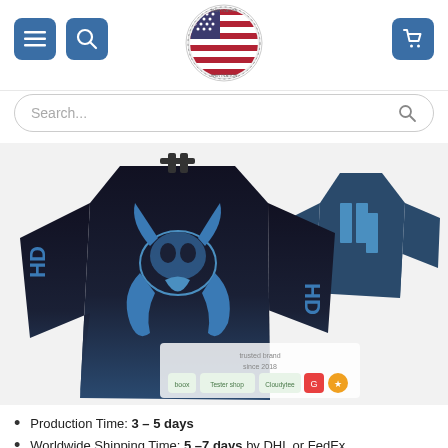[Figure (screenshot): Website header with hamburger menu button, search button, Shirtnation USA logo (American flag circle badge), and shopping cart button on blue square backgrounds]
[Figure (screenshot): Search bar with placeholder text 'Search...' and magnifying glass icon]
[Figure (photo): Two hockey jerseys displayed side by side - front view on left showing black-to-navy gradient jersey with blue Mandalorian skull (mythosaur) graphic, back view on right showing navy jersey with blue number. Both jerseys have customizable name/number placeholders. Trust badge overlay at bottom with 'boox', 'Tester shop', 'Cloudytee' logos and 'trusted brand since 2018' text.]
Production Time: 3 – 5 days
Worldwide Shipping Time: 5 –7 days by DHL or FedEx